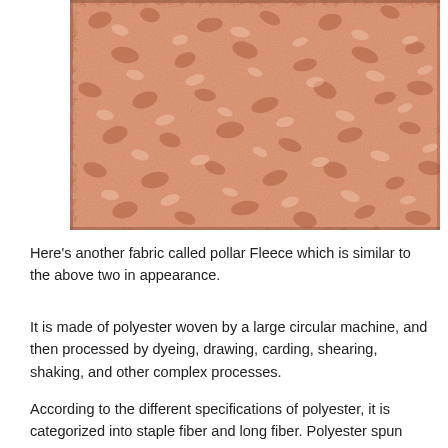[Figure (photo): Close-up photograph of polar fleece fabric texture in a salmon/peach color, showing curly, looped fibers with a soft, fluffy appearance.]
Here's another fabric called pollar Fleece which is similar to the above two in appearance.
It is made of polyester woven by a large circular machine, and then processed by dyeing, drawing, carding, shearing, shaking, and other complex processes.
According to the different specifications of polyester, it is categorized into staple fiber and long fiber. Polyester spun polar fleece is more expensive than polar fleece, which is